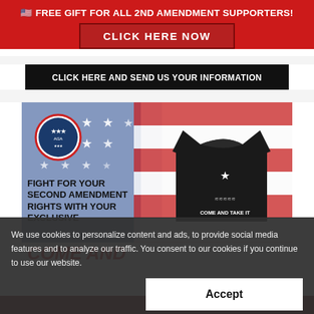🇺🇸 FREE GIFT FOR ALL 2ND AMENDMENT SUPPORTERS!
CLICK HERE NOW
CLICK HERE AND SEND US YOUR INFORMATION
[Figure (photo): Product advertisement image showing a black 'Come and Take It' t-shirt against an American flag background, with an organization logo in the top left corner.]
FIGHT FOR YOUR SECOND AMENDMENT RIGHTS WITH YOUR EXCLUSIVE
COME AND TAKE IT T-SHIRT
We use cookies to personalize content and ads, to provide social media features and to analyze our traffic. You consent to our cookies if you continue to use our website.
Accept